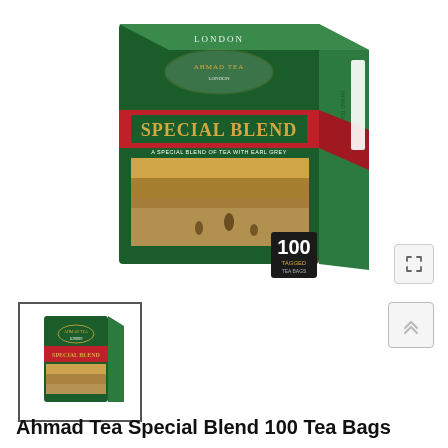[Figure (photo): Ahmad Tea Special Blend box product photo showing a green and red tea box with 100 tagged tea bags, featuring a vintage illustration of a city park scene on the front]
[Figure (photo): Thumbnail image of Ahmad Tea Special Blend box, smaller view of the same product]
Ahmad Tea Special Blend 100 Tea Bags